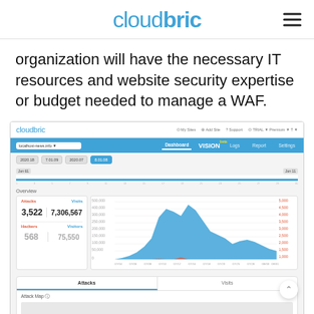cloudbric
organization will have the necessary IT resources and website security expertise or budget needed to manage a WAF.
[Figure (screenshot): Cloudbric dashboard screenshot showing the VISION section with an Overview panel. Displays Attacks: 3,522 and Visits: 7,306,567 with a large blue area chart showing traffic over time. Also shows Hackers: 568 and Visitors: 75,550. Below is an Attacks/Visits tab section with an Attack Map section partially visible.]